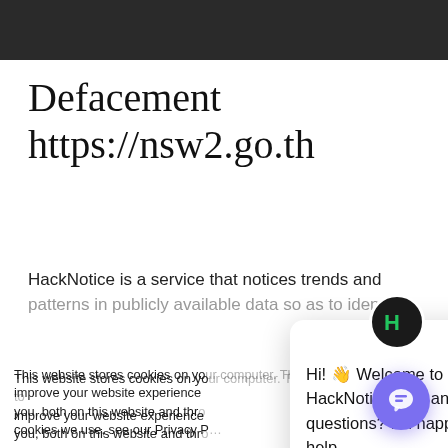[Figure (screenshot): Dark header/navigation bar at top of webpage]
Defacement
https://nsw2.go.th
HackNotice is a service that notices trends and patterns in publicly available data so as to identify
This website stores cookies on your computer. These cookies are used to improve your website experience you, both on this website and through cookies we use, see our Privacy P
We won't track your site. But in order to c we'll have to use jus not asked to make this choice again.
Hi! 👋 Welcome to HackNotice. Got any questions? I'm happy to help.
[Figure (screenshot): Chat popup with HackNotice avatar and welcome message with close button]
[Figure (screenshot): Purple chat FAB button bottom right]
Accept
Decline